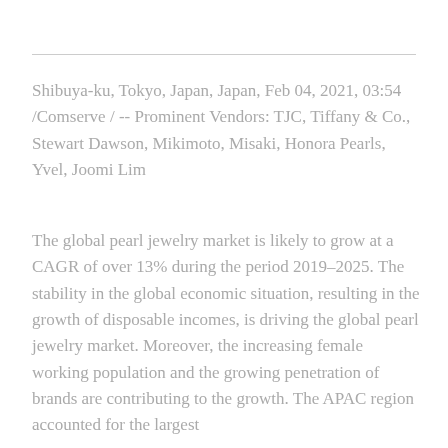Shibuya-ku, Tokyo, Japan, Japan, Feb 04, 2021, 03:54 /Comserve / -- Prominent Vendors: TJC, Tiffany & Co., Stewart Dawson, Mikimoto, Misaki, Honora Pearls, Yvel, Joomi Lim
The global pearl jewelry market is likely to grow at a CAGR of over 13% during the period 2019–2025. The stability in the global economic situation, resulting in the growth of disposable incomes, is driving the global pearl jewelry market. Moreover, the increasing female working population and the growing penetration of brands are contributing to the growth. The APAC region accounted for the largest